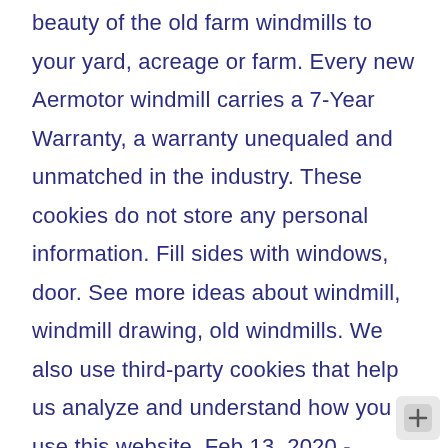beauty of the old farm windmills to your yard, acreage or farm. Every new Aermotor windmill carries a 7-Year Warranty, a warranty unequaled and unmatched in the industry. These cookies do not store any personal information. Fill sides with windows, door. See more ideas about windmill, windmill drawing, old windmills. We also use third-party cookies that help us analyze and understand how you use this website. Feb 13, 2020 - Explore Gmccuchens's board "Windmill drawing" on Pinterest. To learn more about the history of windmills, you can go look back to a man named Poul la Cour who grew up on a farm in Djursland, Denmark in the 1850s. 1. All the best Windmill Line Drawing 40+ collected on this page. Art Projects for Kids is a collection of fun and easy art projects